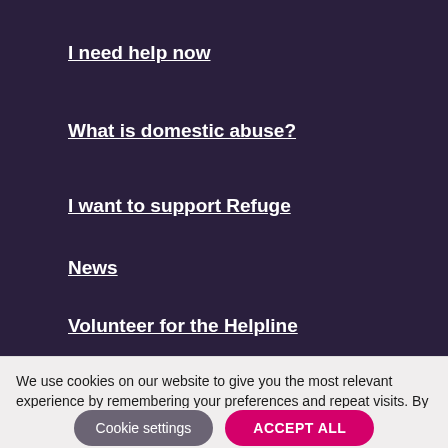I need help now
What is domestic abuse?
I want to support Refuge
News
Volunteer for the Helpline
About Us
We use cookies on our website to give you the most relevant experience by remembering your preferences and repeat visits. By clicking “Accept All”, you consent to the use of ALL the cookies. However, you may visit "Cookie Settings" to provide a controlled consent.
Cookie settings | ACCEPT ALL